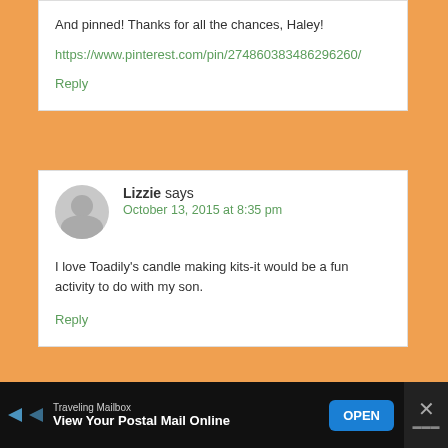And pinned! Thanks for all the chances, Haley!
https://www.pinterest.com/pin/274860383486296260/
Reply
Lizzie says
October 13, 2015 at 8:35 pm
I love Toadily's candle making kits-it would be a fun activity to do with my son.
Reply
Traveling Mailbox
View Your Postal Mail Online